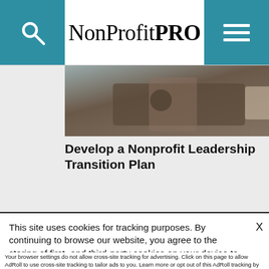NonProfit PRO
[Figure (photo): Photo of people around a table with papers and a tablet, in a meeting/workshop setting]
Develop a Nonprofit Leadership Transition Plan
Way Effe
This site uses cookies for tracking purposes. By continuing to browse our website, you agree to the storing of first- and third-party cookies on your device to enhance site navigation, analyze site usage, and assist in our marketing and
Accept and Close ✕
Your browser settings do not allow cross-site tracking for advertising. Click on this page to allow AdRoll to use cross-site tracking to tailor ads to you. Learn more or opt out of this AdRoll tracking by clicking here. This message only appears once.